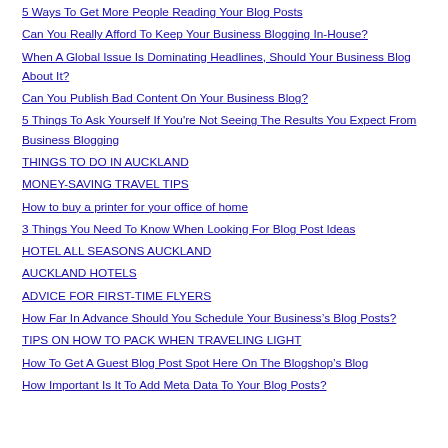5 Ways To Get More People Reading Your Blog Posts
Can You Really Afford To Keep Your Business Blogging In-House?
When A Global Issue Is Dominating Headlines, Should Your Business Blog About It?
Can You Publish Bad Content On Your Business Blog?
5 Things To Ask Yourself If You're Not Seeing The Results You Expect From Business Blogging
THINGS TO DO IN AUCKLAND
MONEY-SAVING TRAVEL TIPS
How to buy a printer for your office of home
3 Things You Need To Know When Looking For Blog Post Ideas
HOTEL ALL SEASONS AUCKLAND
AUCKLAND HOTELS
ADVICE FOR FIRST-TIME FLYERS
How Far In Advance Should You Schedule Your Business's Blog Posts?
TIPS ON HOW TO PACK WHEN TRAVELING LIGHT
How To Get A Guest Blog Post Spot Here On The Blogshop's Blog
How Important Is It To Add Meta Data To Your Blog Posts?